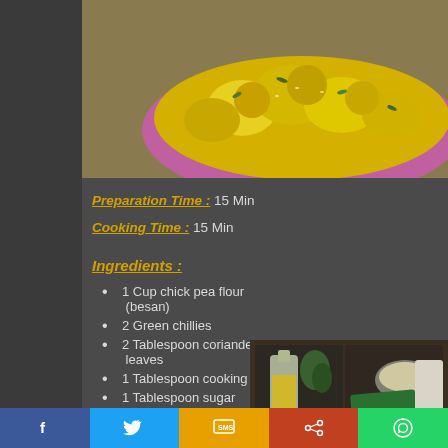[Figure (photo): Top photo of a turmeric/besan dish in a pink/purple bowl with yellow coating and green herbs]
Preparation Time : 15 Min
Cooking Time : 15 Min
Ingredients :
1 Cup chick pea flour (besan)
2 Green chillies
2 Tablespoon coriander leaves
1 Tablespoon cooking oil
1 Tablespoon sugar
1 Tablespoon lemon juice
[Figure (photo): Ingredients photo showing oil in glass, ENO packet, and other ingredients on a counter]
Social sharing bar with Facebook, Twitter, SMS, Share, WhatsApp buttons